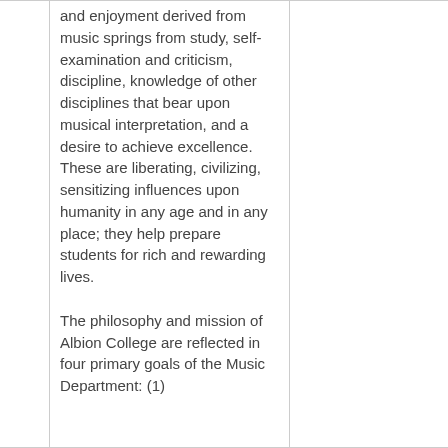and enjoyment derived from music springs from study, self-examination and criticism, discipline, knowledge of other disciplines that bear upon musical interpretation, and a desire to achieve excellence. These are liberating, civilizing, sensitizing influences upon humanity in any age and in any place; they help prepare students for rich and rewarding lives.
The philosophy and mission of Albion College are reflected in four primary goals of the Music Department: (1)